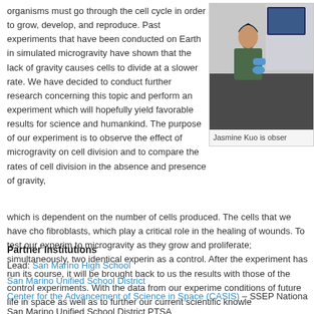organisms must go through the cell cycle in order to grow, develop, and reproduce. Past experiments that have been conducted on Earth in simulated microgravity have shown that the lack of gravity causes cells to divide at a slower rate. We have decided to conduct further research concerning this topic and perform an experiment which will hopefully yield favorable results for science and humankind. The purpose of our experiment is to observe the effect of microgravity on cell division and to compare the rates of cell division in the absence and presence of gravity, which is dependent on the number of cells produced. The cells that we have chosen are fibroblasts, which play a critical role in the healing of wounds. To test our experiment, we will expose cells to microgravity as they grow and proliferate; simultaneously, two identical experiments will be performed on Earth as a control. After the experiment has run its course, it will be brought back to us and we will compare the results with those of the control experiments. With the data from our experiment, we hope to better understand the conditions of future life in space as well as to further our current scientific knowledge.
[Figure (photo): Photo of Jasmine Kuo looking through a microscope in a laboratory setting]
Jasmine Kuo is observing...
Partner Institutions
Lead: San Marino High School
San Marino Unified School District
Center for the Advancement of Science in Space (CASIS) – SSEP Nationa...
San Marino Unified School District PTSA
Stephen and Mary Birch Foundation